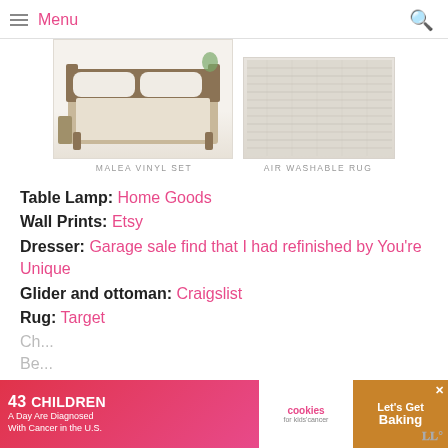Menu
[Figure (photo): Product image of a bed frame (Malea Vinyl Set) and a rug (Air Washable Rug)]
MALEA VINYL SET   AIR WASHABLE RUG
Table Lamp: Home Goods
Wall Prints: Etsy
Dresser: Garage sale find that I had refinished by You're Unique
Glider and ottoman: Craigslist
Rug: Target
[Figure (photo): Advertisement: 43 Children A Day Are Diagnosed With Cancer in the U.S. — cookies for kids cancer — Let's Get Baking]